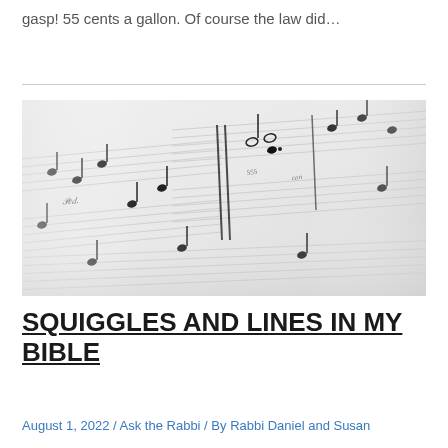gasp! 55 cents a gallon. Of course the law did…
[Figure (photo): Close-up photograph of sheet music showing musical notation, notes, staffs, and markings on white paper, slightly out of focus with shallow depth of field.]
SQUIGGLES AND LINES IN MY BIBLE
August 1, 2022 / Ask the Rabbi / By Rabbi Daniel and Susan